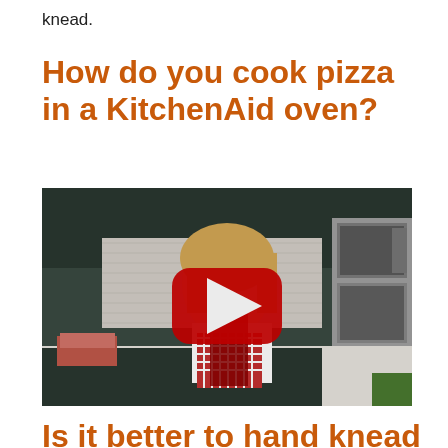knead.
How do you cook pizza in a KitchenAid oven?
[Figure (photo): A woman in a red checkered apron using a blender in a modern kitchen with dark cabinets and a stainless steel oven/microwave. A YouTube play button overlay is visible in the center of the image.]
Is it better to hand knead